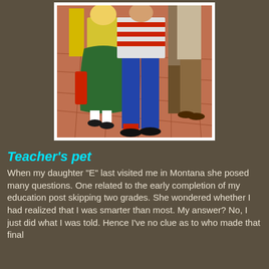[Figure (photo): Vintage illustration/photo showing students walking, including a girl in a green skirt and yellow cardigan and a boy in a red striped shirt and blue jeans, on a tiled floor.]
Teacher's pet
When my daughter "E" last visited me in Montana she posed many questions. One related to the early completion of my education post skipping two grades. She wondered whether I had realized that I was smarter than most. My answer? No, I just did what I was told. Hence I've no clue as to who made that final